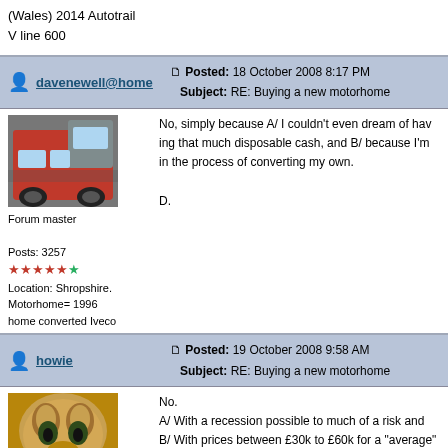(Wales) 2014 Autotrail V line 600
davenewell@home — Posted: 18 October 2008 8:17 PM — Subject: RE: Buying a new motorhome
No, simply because A/ I couldn't even dream of having that much disposable cash, and B/ because I'm in the process of converting my own.

D.
Forum master
Posts: 3257
Location: Shropshire.
Motorhome= 1996 home converted Iveco
howie — Posted: 19 October 2008 9:58 AM — Subject: RE: Buying a new motorhome
No.
A/ With a recession possible to much of a risk and
B/ With prices between £30k to £60k for a "average" motorhome its hard to know exactly what you are getting for your money.
C/ Why buy new. Huge discount buying second hand, with previous owner often having expensive accessories fitted and warr